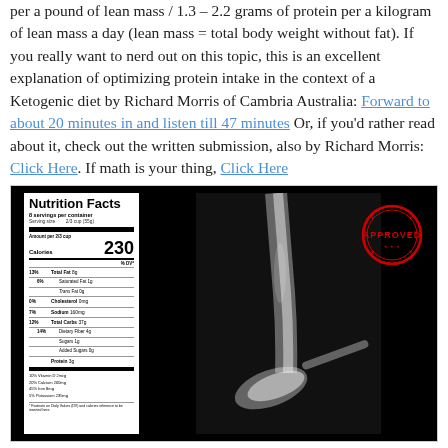per a pound of lean mass / 1.3 – 2.2 grams of protein per a kilogram of lean mass a day (lean mass = total body weight without fat). If you really want to nerd out on this topic, this is an excellent explanation of optimizing protein intake in the context of a Ketogenic diet by Richard Morris of Cambria Australia: Forward to about 20 minutes in and listen till 47 minutes Or, if you'd rather read about it, check out the written submission, also by Richard Morris: Click Here. If math is your thing, Click Here
[Figure (photo): Composite image showing a Nutrition Facts label on the left side and sugar being poured from a spoon on a dark background on the right, with a red 'APPROVED' stamp overlay in the upper right.]